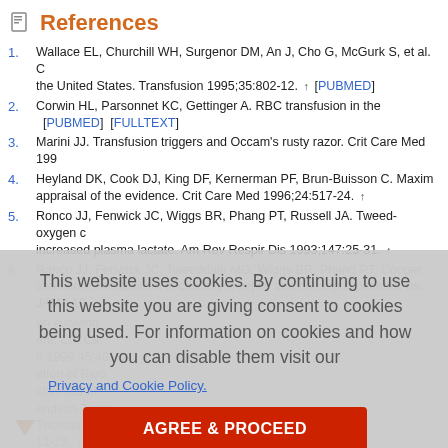References
Wallace EL, Churchill WH, Surgenor DM, An J, Cho G, McGurk S, et al. ...the United States. Transfusion 1995;35:802-12. [PUBMED]
Corwin HL, Parsonnet KC, Gettinger A. RBC transfusion in the ... [PUBMED] [FULLTEXT]
Marini JJ. Transfusion triggers and Occam's rusty razor. Crit Care Med 199...
Heyland DK, Cook DJ, King DF, Kernerman PF, Brun-Buisson C. Maxim... appraisal of the evidence. Crit Care Med 1996;24:517-24.
Ronco JJ, Fenwick JC, Wiggs BR, Phang PT, Russell JA. Tweed-oxygen d... increased plasma lactate. Am Rev Respir Dis 1993;147:25-31.
Ranco JJ, Fenwick JC, Tweeddale MG, Wiggs BR, Phang PT, Cooper... ns. JAMA 19...
This website uses cookies. By continuing to use this website you are giving consent to cookies being used. For information on cookies and how you can disable them visit our
Privacy and Cookie Policy.
AGREE & PROCEED